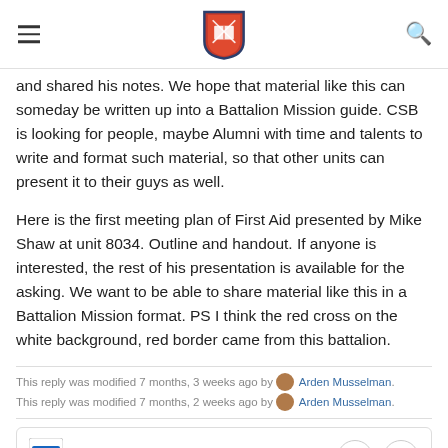CSB logo header with navigation
and shared his notes. We hope that material like this can someday be written up into a Battalion Mission guide. CSB is looking for people, maybe Alumni with time and talents to write and format such material, so that other units can present it to their guys as well.

Here is the first meeting plan of First Aid presented by Mike Shaw at unit 8034. Outline and handout. If anyone is interested, the rest of his presentation is available for the asking. We want to be able to share material like this in a Battalion Mission format. PS I think the red cross on the white background, red border came from this battalion.
This reply was modified 7 months, 3 weeks ago by Arden Musselman. This reply was modified 7 months, 2 weeks ago by Arden Musselman.
[Figure (other): CHRISTIAN-SERVICE-B... attachment card with Word document icon, download button, and more options button]